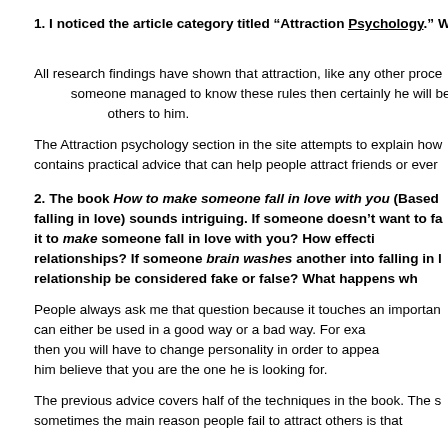1. I noticed the article category titled “Attraction Psychology.” W... work?
All research findings have shown that attraction, like any other proce... others to him.
The Attraction psychology section in the site attempts to explain how... contains practical advice that can help people attract friends or ever...
2. The book How to make someone fall in love with you (Based... falling in love) sounds intriguing. If someone doesn’t want to fa... healthy is it to make someone fall in love with you? How effecti... relationships? If someone brain washes another into falling in l... the relationship be considered fake or false? What happens wh...
People always ask me that question because it touches an importan... knowledge can either be used in a good way or a bad way. For exa... someone then you will have to change personality in order to appea... him just to let him believe that you are the one he is looking for.
The previous advice covers half of the techniques in the book. The s... that sometimes the main reason people fail to attract others is that...